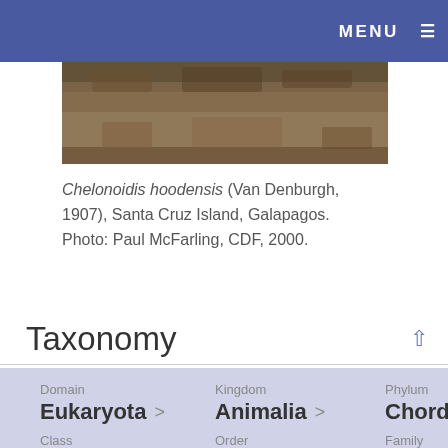MENU ≡
[Figure (photo): Partial view of a Chelonoidis hoodensis tortoise on rocky/sandy ground in Galapagos]
Chelonoidis hoodensis (Van Denburgh, 1907), Santa Cruz Island, Galapagos. Photo: Paul McFarling, CDF, 2000.
Taxonomy
| Domain | Kingdom | Phylum | Class | Order | Family | Genus | Species |
| --- | --- | --- | --- | --- | --- | --- | --- |
| Eukaryota | Animalia | Chordata | Reptilia | Testudines | Testunidae |  |  |